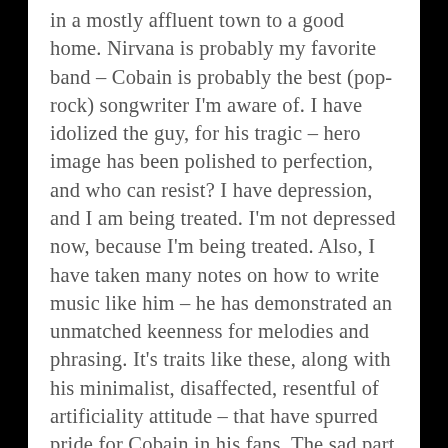in a mostly affluent town to a good home. Nirvana is probably my favorite band – Cobain is probably the best (pop-rock) songwriter I'm aware of. I have idolized the guy, for his tragic – hero image has been polished to perfection, and who can resist? I have depression, and I am being treated. I'm not depressed now, because I'm being treated. Also, I have taken many notes on how to write music like him – he has demonstrated an unmatched keenness for melodies and phrasing. It's traits like these, along with his minimalist, disaffected, resentful of artificiality attitude – that have spurred pride for Cobain in his fans. The sad part is that I'm sure deep down, Kurt thought he was a good person. He probably was, but unfortunately – his actions dictated otherwise. Depression